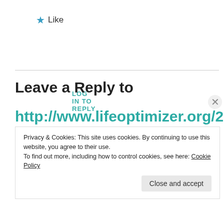★ Like
LOG IN TO REPLY
Leave a Reply to
http://www.lifeoptimizer.org/2016/...of-fiction-contribute-to-career/
Cancel reply
Privacy & Cookies: This site uses cookies. By continuing to use this website, you agree to their use.
To find out more, including how to control cookies, see here: Cookie Policy
Close and accept